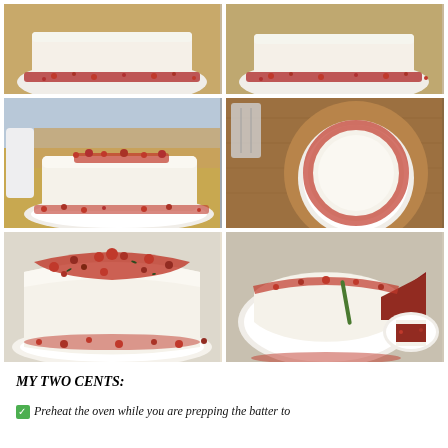[Figure (photo): Top-left: Red velvet cake with white cream cheese frosting and red crumbles on a white plate, side view, partial top cut off]
[Figure (photo): Top-right: Red velvet cake with white cream cheese frosting and red crumbles on a white plate, similar side view, partial top cut off]
[Figure (photo): Middle-left: Red velvet cake with white cream cheese frosting and red crumbles on top, on a white plate, full side view, outdoor setting]
[Figure (photo): Middle-right: Red velvet cake with white cream cheese frosting and red crumbles on top, on a white plate, top-down angled view on wooden board with a grater visible]
[Figure (photo): Bottom-left: Close-up angled view of red velvet cake with red crumbles and herbs scattered on top of white frosting]
[Figure (photo): Bottom-right: Red velvet cake with a slice removed showing red interior, on a white plate, another plate with slice on the side]
MY TWO CENTS:
Preheat the oven while you are prepping the batter to